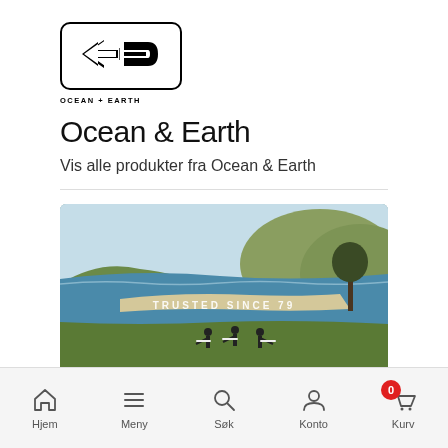[Figure (logo): Ocean + Earth brand logo: stylized OE letters inside a rounded rectangle, with 'OCEAN + EARTH' text below]
Ocean & Earth
Vis alle produkter fra Ocean & Earth
[Figure (photo): Coastal beach scene with surfers walking on green grass headland, ocean with small waves, cliffs and a tree in background. Text overlay reads 'TRUSTED SINCE 79']
Hjem   Meny   Søk   Konto   Kurv